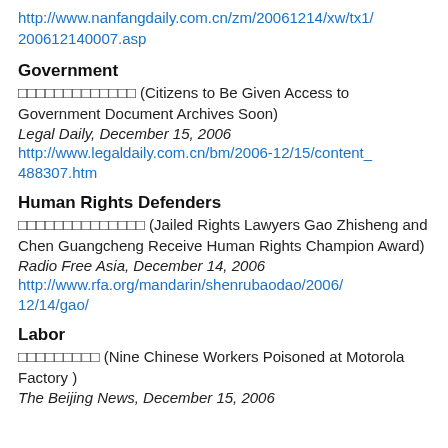http://www.nanfangdaily.com.cn/zm/20061214/xw/tx1/200612140007.asp
Government
囗囗囗囗囗囗囗囗囗囗囗囗囗 (Citizens to Be Given Access to Government Document Archives Soon)
Legal Daily, December 15, 2006
http://www.legaldaily.com.cn/bm/2006-12/15/content_488307.htm
Human Rights Defenders
囗囗囗囗囗囗囗囗囗囗囗囗囗囗 (Jailed Rights Lawyers Gao Zhisheng and Chen Guangcheng Receive Human Rights Champion Award)
Radio Free Asia, December 14, 2006
http://www.rfa.org/mandarin/shenrubaodao/2006/12/14/gao/
Labor
囗囗囗囗囗囗囗囗囗 (Nine Chinese Workers Poisoned at Motorola Factory )
The Beijing News, December 15, 2006